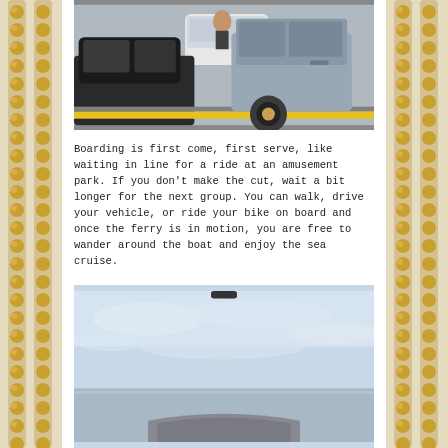[Figure (photo): Cars and SUVs boarding a ferry, including a grey Jeep Wrangler and a dark vehicle, with a yellow curb visible on the ferry deck. A white minivan is in the background.]
Boarding is first come, first serve, like waiting in line for a ride at an amusement park. If you don't make the cut, wait a bit longer for the next group. You can walk, drive your vehicle, or ride your bike on board and once the ferry is in motion, you are free to wander around the boat and enjoy the sea cruise.
[Figure (photo): View from the front of a ferry looking out at a calm sea with a light blue sky with clouds. The bow of the ferry is visible at the bottom of the image.]